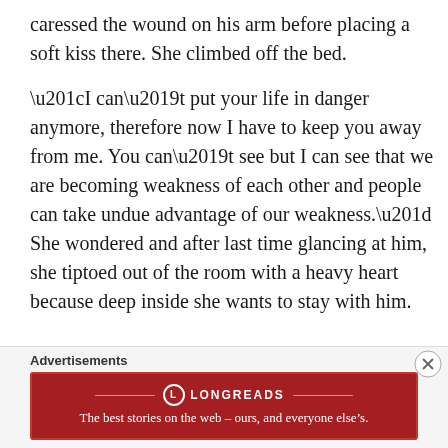caressed the wound on his arm before placing a soft kiss there. She climbed off the bed.
“I can’t put your life in danger anymore, therefore now I have to keep you away from me. You can’t see but I can see that we are becoming weakness of each other and people can take undue advantage of our weakness.” She wondered and after last time glancing at him, she tiptoed out of the room with a heavy heart because deep inside she wants to stay with him.
Advertisements
[Figure (other): Longreads advertisement banner in dark red with logo and tagline: The best stories on the web – ours, and everyone else’s.]